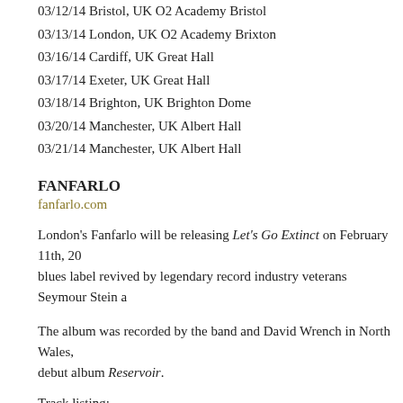03/12/14 Bristol, UK O2 Academy Bristol
03/13/14 London, UK O2 Academy Brixton
03/16/14 Cardiff, UK Great Hall
03/17/14 Exeter, UK Great Hall
03/18/14 Brighton, UK Brighton Dome
03/20/14 Manchester, UK Albert Hall
03/21/14 Manchester, UK Albert Hall
FANFARLO
fanfarlo.com
London's Fanfarlo will be releasing Let's Go Extinct on February 11th, 20... blues label revived by legendary record industry veterans Seymour Stein a...
The album was recorded by the band and David Wrench in North Wales,... debut album Reservoir.
Track listing: